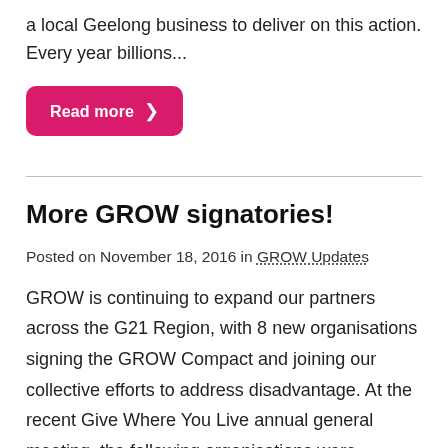Action Plan and GROW is excited to be partnering with a local Geelong business to deliver on this action. Every year billions...
Read more →
More GROW signatories!
Posted on November 18, 2016 in GROW Updates
GROW is continuing to expand our partners across the G21 Region, with 8 new organisations signing the GROW Compact and joining our collective efforts to address disadvantage. At the recent Give Where You Live annual general meeting, the following organisations were awarded their GROW Compact